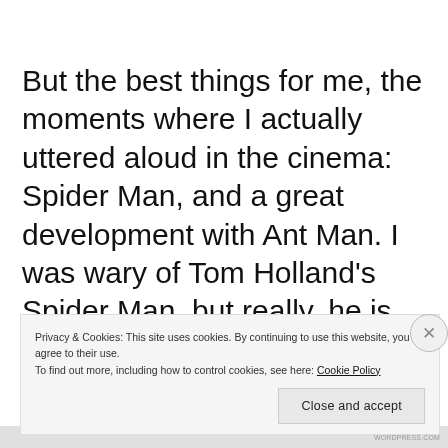But the best things for me, the moments where I actually uttered aloud in the cinema: Spider Man, and a great development with Ant Man. I was wary of Tom Holland's Spider Man, but really, he is terrific. I though this depiction of Spider Man took the best elements of the last 14 years, namely Garfield's Spider Man,
Privacy & Cookies: This site uses cookies. By continuing to use this website, you agree to their use.
To find out more, including how to control cookies, see here: Cookie Policy